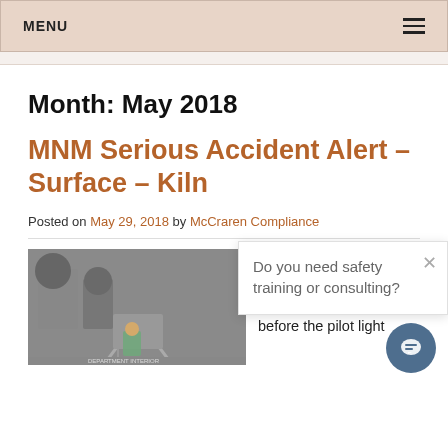MENU
Month: May 2018
MNM Serious Accident Alert – Surface – Kiln
Posted on May 29, 2018 by McCraren Compliance
[Figure (photo): Worker near a gas-fired kiln structure on a surface mine site]
burned while lighting a gas-fired kiln. Gas accumulated inside kiln before the pilot light
Do you need safety training or consulting?